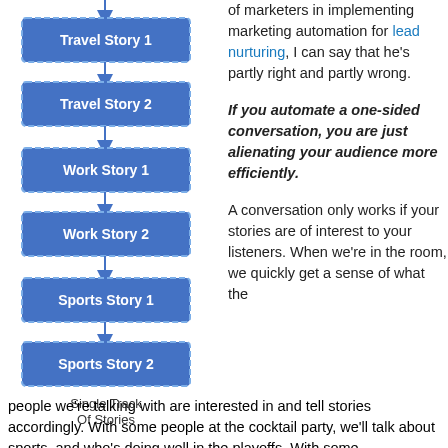[Figure (flowchart): Single Track Of Stories flowchart showing sequential boxes: Travel Story 1 → Travel Story 2 → Work Story 1 → Work Story 2 → Sports Story 1 → Sports Story 2, with label 'Single Track Of Stories']
of marketers in implementing marketing automation for lead nurturing, I can say that he's partly right and partly wrong.
If you automate a one-sided conversation, you are just alienating your audience more efficiently.
A conversation only works if your stories are of interest to your listeners. When we're in the room, we quickly get a sense of what the people we're talking with are interested in and tell stories accordingly. With some people at the cocktail party, we'll talk about sports, and who's doing well in the playoffs. With some